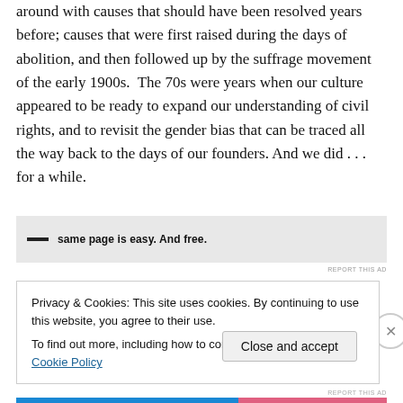around with causes that should have been resolved years before; causes that were first raised during the days of abolition, and then followed up by the suffrage movement of the early 1900s.  The 70s were years when our culture appeared to be ready to expand our understanding of civil rights, and to revisit the gender bias that can be traced all the way back to the days of our founders. And we did . . . for a while.
[Figure (other): Advertisement banner with dash icon and bold text: 'same page is easy. And free.']
REPORT THIS AD
Privacy & Cookies: This site uses cookies. By continuing to use this website, you agree to their use.
To find out more, including how to control cookies, see here: Cookie Policy
Close and accept